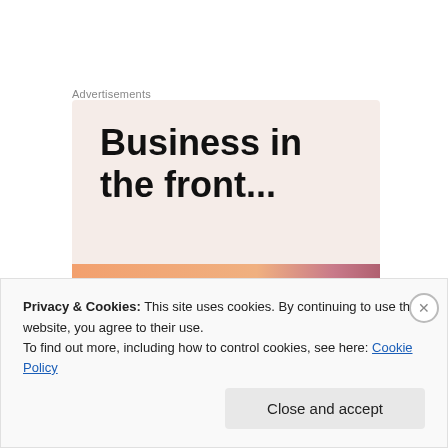Advertisements
[Figure (illustration): Advertisement banner with text 'Business in the front...' on a light pink/peach background with a colorful stripe at the bottom in orange and pink/mauve tones.]
In the States, I've dealt with stupid people all of my life. Just because I'm black, they seem to think that means that somehow I'm not quite like them. Some have even
Privacy & Cookies: This site uses cookies. By continuing to use this website, you agree to their use. To find out more, including how to control cookies, see here: Cookie Policy
Close and accept